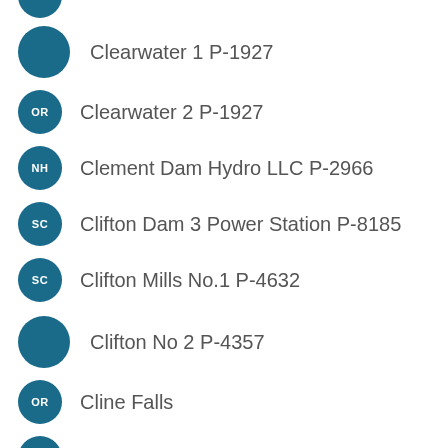Clearwater 1 P-1927
Clearwater 2 P-1927
Clement Dam Hydro LLC P-2966
Clifton Dam 3 Power Station P-8185
Clifton Mills No.1 P-4632
Clifton No 2 P-4357
Cline Falls
Cloquet P-2363
Clover Leaf Ranch P-7057